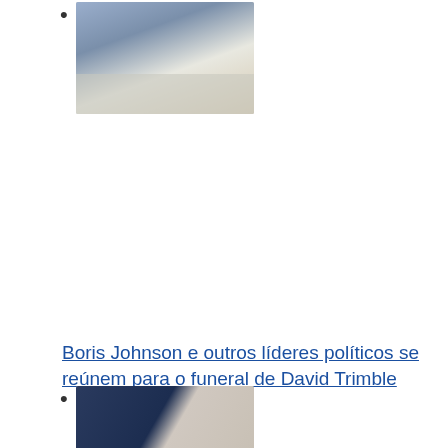[Figure (photo): Group of people seated at a table with white flowers, appearing to be at a formal meeting or ceremony]
Boris Johnson e outros líderes políticos se reúnem para o funeral de David Trimble
[Figure (photo): Two people standing side by side — a man in a dark suit on the left and a woman in a light jacket on the right]